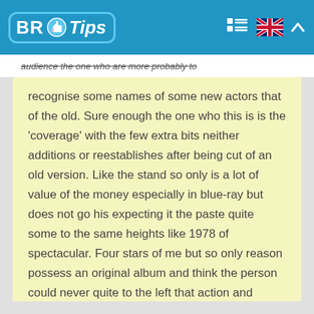BR Tips
audience the one who are more probably to recognise some names of some new actors that of the old. Sure enough the one who this is is the 'coverage' with the few extra bits neither additions or reestablishes after being cut of an old version. Like the stand so only is a lot of value of the money especially in blue-ray but does not go his expecting it the paste quite some to the same heights like 1978 of spectacular. Four stars of me but so only reason possess an original album and think the person could never quite to the left that action and incredible mould.